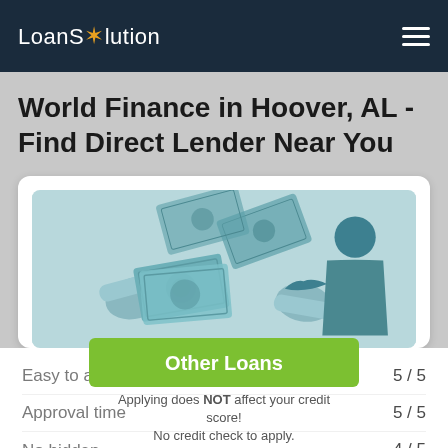LoanSolution
World Finance in Hoover, AL - Find Direct Lender Near You
[Figure (illustration): Illustration of a hand passing money (banknotes) to another person, with a figure of a man on the right, rendered in teal/light blue tones on a light blue background]
Easy to apply   5 / 5
Other Loans
Approval time   5 / 5
Applying does NOT affect your credit score! No credit check to apply.
No hidden condition   4 / 5